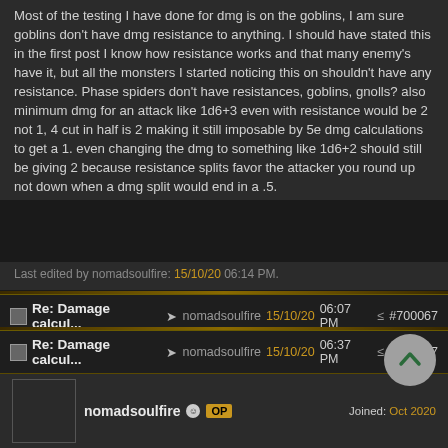Most of the testing I have done for dmg is on the goblins, I am sure goblins don't have dmg resistance to anything. I should have stated this in the first post I know how resistance works and that many enemy's have it, but all the monsters I started noticing this on shouldn't have any resistance. Phase spiders don't have resistances, goblins, gnolls? also minimum dmg for an attack like 1d6+3 even with resistance would be 2 not 1, 4 cut in half is 2 making it still imposable by 5e dmg calculations to get a 1. even changing the dmg to something like 1d6+2 should still be giving 2 because resistance splits favor the attacker you round up not down when a dmg split would end in a .5.
Last edited by nomadsoulfire: 15/10/20 06:14 PM.
Re: Damage calcul... nomadsoulfire 15/10/20 06:07 PM #700067
Nezix member Joined: Jun 2017
Can you open up the combat log and take a look at what it says? Near the bottom right hand of the screen there is something to expand it out (you'll have to scroll to the bottom after).
Re: Damage calcul... nomadsoulfire 15/10/20 06:37 PM #700147
nomadsoulfire OP Joined: Oct 2020